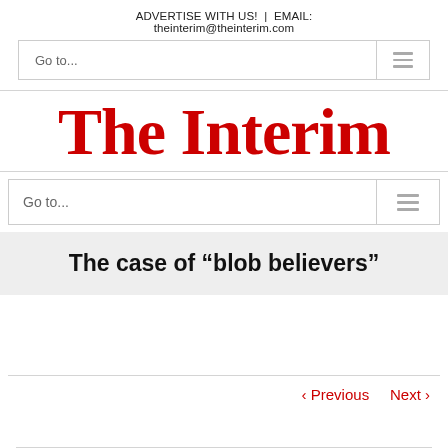ADVERTISE WITH US! | EMAIL: theinterim@theinterim.com
[Figure (logo): The Interim logo in red serif gothic font]
The case of “blob believers”
< Previous   Next >